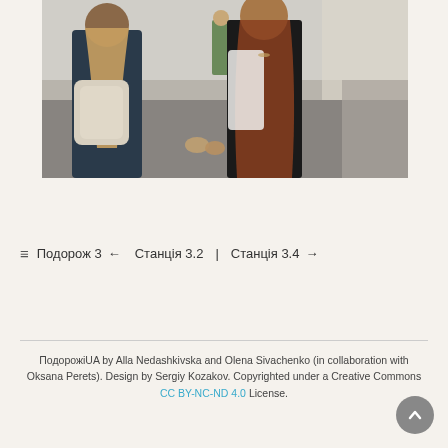[Figure (photo): Two women on a street, one with long blonde hair and a backpack, another with curly auburn hair in a black dress and white lace jacket, shaking hands or exchanging something, with a busy street scene in the background.]
☰  Подорож 3 ←   Станція 3.2  |  Станція 3.4  →
ПодорожіUA by Alla Nedashkivska and Olena Sivachenko (in collaboration with Oksana Perets). Design by Sergiy Kozakov. Copyrighted under a Creative Commons CC BY-NC-ND 4.0 License.